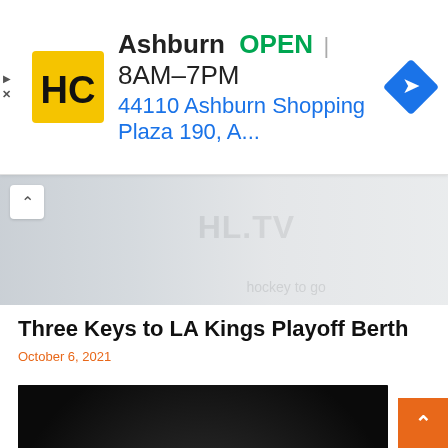[Figure (screenshot): Advertisement banner for HC business in Ashburn. Yellow/black HC logo on left, text shows 'Ashburn OPEN 8AM-7PM' and '44110 Ashburn Shopping Plaza 190, A...' with a blue navigation diamond icon on the right.]
[Figure (photo): Partially visible previous article image showing a hockey-related scene with 'HL.TV' text visible, with a white up-arrow navigation button overlay at top-left.]
Three Keys to LA Kings Playoff Berth
October 6, 2021
[Figure (photo): Hockey player wearing LA Kings black jersey and LA Kings cap, holding a hockey stick, photographed against a dark background at what appears to be an NHL draft event.]